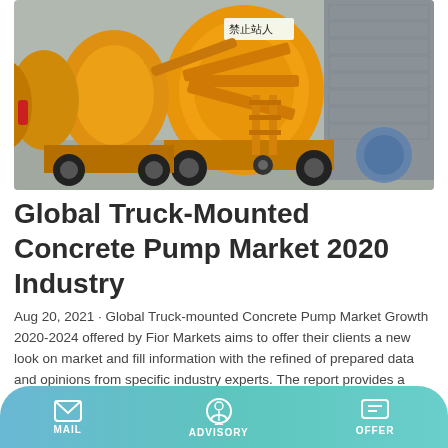[Figure (photo): Row of yellow truck-mounted concrete pump mixers parked in an industrial facility with concrete block walls. Chinese text visible on one machine reading 禁止站人.]
Global Truck-Mounted Concrete Pump Market 2020 Industry
Aug 20, 2021 · Global Truck-mounted Concrete Pump Market Growth 2020-2024 offered by Fior Markets aims to offer their clients a new look on market and fill information with the refined of prepared data and opinions from specific industry experts. The report provides a reliable overview of this business that highlights growth opportunities and revenue currently this market is holding as well as focuses on the
MAIL   ADVISORY   OFFER